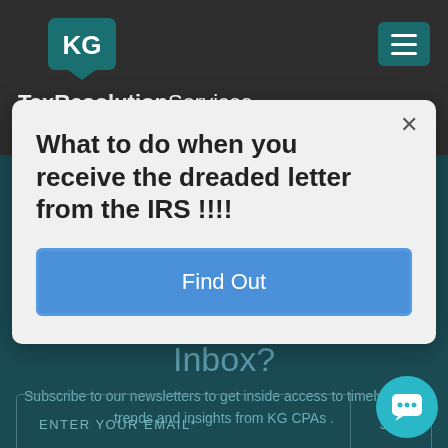[Figure (logo): KG TaxResolutionServices logo with teal speech-bubble icon and hamburger menu button]
What to do when you receive the dreaded letter from the IRS !!!!
Find Out
Inbox?
Subscribe to our newsletters to get inside access to timely news, trends and insights from KG CPAs .
ENTER YOUR EMAIL*
SIG